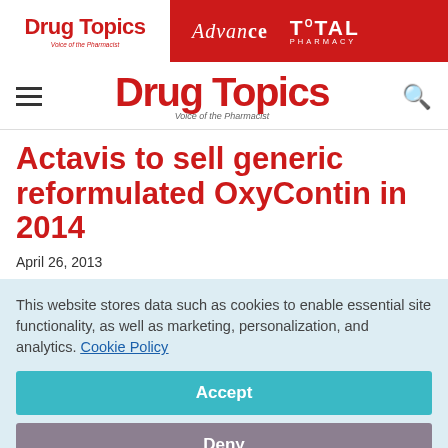Drug Topics | Advance | TOTAL PHARMACY
Drug Topics — Voice of the Pharmacist
Actavis to sell generic reformulated OxyContin in 2014
April 26, 2013
This website stores data such as cookies to enable essential site functionality, as well as marketing, personalization, and analytics. Cookie Policy
Accept
Deny